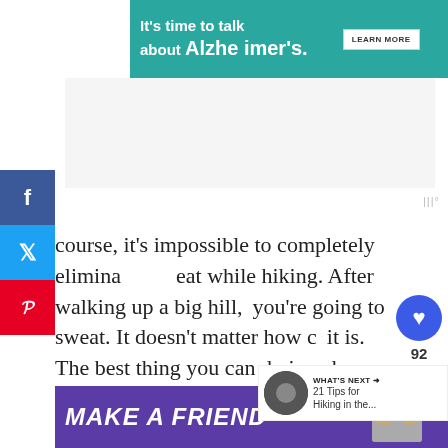[Figure (screenshot): Advertisement banner: 'It's time to talk about Alzheimer's.' with LEARN MORE button and Alzheimer's Association logo on teal background]
[Figure (screenshot): Mediavine ad unit placeholder (gray area)]
course, it's impossible to completely eliminate sweat while hiking. After walking up a big hill, you're going to sweat. It doesn't matter how cold it is. The best thing you can do is reduce the amount that you sweat the best you can and to manage the sweat that you do produce.
[Figure (screenshot): What's Next panel: '21 Tips for Hiking in the...' with thumbnail image]
[Figure (screenshot): Bottom advertisement banner: 'MAKE A FRIEND' on purple background with dog image]